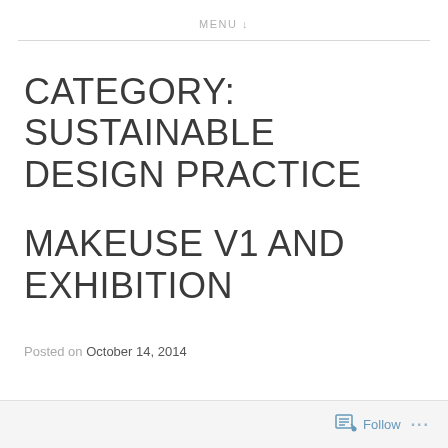MENU ↓
CATEGORY: SUSTAINABLE DESIGN PRACTICE
MAKEUSE V1 AND EXHIBITION
Posted on October 14, 2014
Follow ...